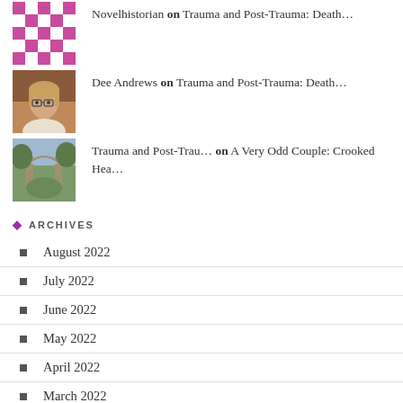Novelhistorian on Trauma and Post-Trauma: Death...
Dee Andrews on Trauma and Post-Trauma: Death...
Trauma and Post-Trau... on A Very Odd Couple: Crooked Hea...
ARCHIVES
August 2022
July 2022
June 2022
May 2022
April 2022
March 2022
February 2022